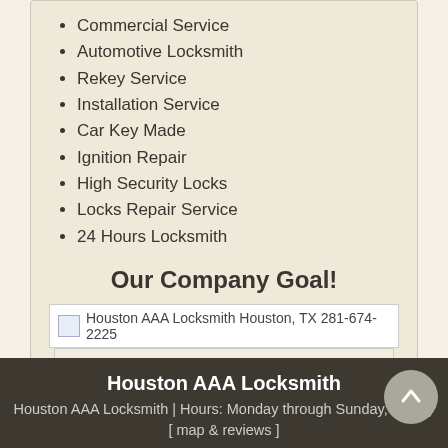Commercial Service
Automotive Locksmith
Rekey Service
Installation Service
Car Key Made
Ignition Repair
High Security Locks
Locks Repair Service
24 Hours Locksmith
Our Company Goal!
[Figure (photo): Broken image placeholder for Houston AAA Locksmith Houston, TX 281-674-2225]
Houston AAA Locksmith Houston, TX 281-674-2225
Houston AAA Locksmith
Houston AAA Locksmith | Hours: Monday through Sunday, All day [ map & reviews ]